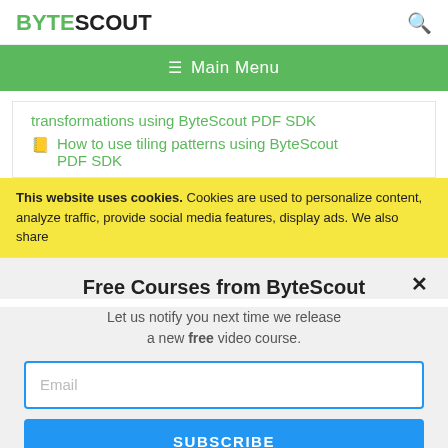BYTESCOUT
[Figure (screenshot): Green main menu navigation bar with hamburger icon and 'Main Menu' text]
transformations using ByteScout PDF SDK
How to use tiling patterns using ByteScout PDF SDK
This website uses cookies. Cookies are used to personalize content, analyze traffic, provide social media features, display ads. We also share
Free Courses from ByteScout
Let us notify you next time we release a new free video course.
Email
SUBSCRIBE